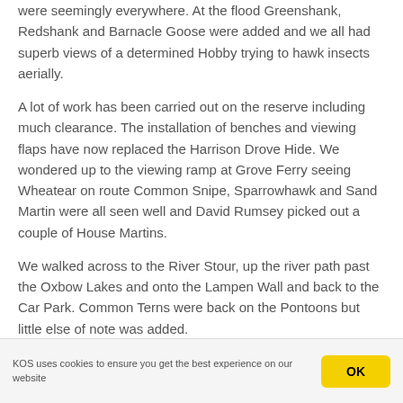were seemingly everywhere. At the flood Greenshank, Redshank and Barnacle Goose were added and we all had superb views of a determined Hobby trying to hawk insects aerially.
A lot of work has been carried out on the reserve including much clearance. The installation of benches and viewing flaps have now replaced the Harrison Drove Hide. We wondered up to the viewing ramp at Grove Ferry seeing Wheatear on route Common Snipe, Sparrowhawk and Sand Martin were all seen well and David Rumsey picked out a couple of House Martins.
We walked across to the River Stour, up the river path past the Oxbow Lakes and onto the Lampen Wall and back to the Car Park. Common Terns were back on the Pontoons but little else of note was added.
KOS uses cookies to ensure you get the best experience on our website